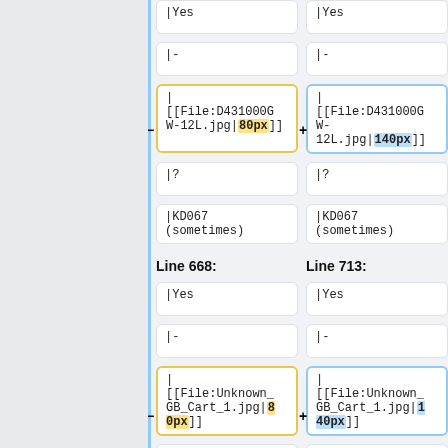|Yes (top, clipped)
|-
| [[File:D431000GW-12L.jpg|80px]]
| [[File:D431000GW-12L.jpg|140px]]
|?
|KD067 (sometimes)
Line 668:
Line 713:
|Yes
|-
| [[File:Unknown_GB_Cart_1.jpg|80px]]
| [[File:Unknown_GB_Cart_1.jpg|140px]]
|?